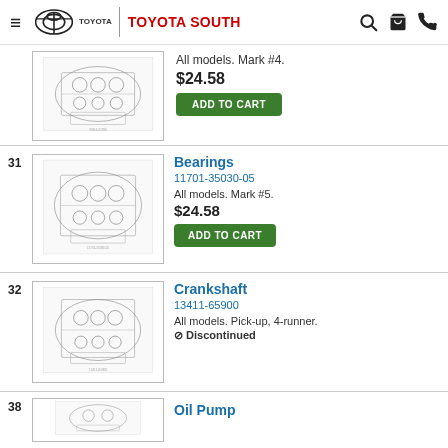Toyota South
[Figure (illustration): Exploded engine parts diagram (partial, top of page, no item number visible)]
All models. Mark #4.
$24.58
ADD TO CART
31
Bearings
11701-35030-05
All models. Mark #5.
$24.58
ADD TO CART
32
Crankshaft
13411-65900
All models. Pick-up, 4-runner.
⊘ Discontinued
38
Oil Pump